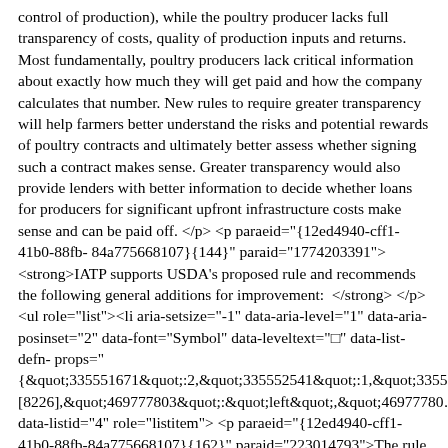control of production), while the poultry producer lacks full transparency of costs, quality of production inputs and returns. Most fundamentally, poultry producers lack critical information about exactly how much they will get paid and how the company calculates that number. New rules to require greater transparency will help farmers better understand the risks and potential rewards of poultry contracts and ultimately better assess whether signing such a contract makes sense. Greater transparency would also provide lenders with better information to decide whether loans for producers for significant upfront infrastructure costs make sense and can be paid off. </p> <p paraeid="{12ed4940-cff1-41b0-88fb-84a775668107}{144}" paraid="1774203391"><strong>IATP supports USDA's proposed rule and recommends the following general additions for improvement:  </strong> </p> <ul role="list"><li aria-setsize="-1" data-aria-level="1" data-aria-posinset="2" data-font="Symbol" data-leveltext="" data-list-defn-props="
{&quot;335551671&quot;:2,&quot;335552541&quot;:1,&quot;3355[8226],&quot;469777803&quot;:&quot;left&quot;,&quot;469777804" data-listid="4" role="listitem"> <p paraeid="{12ed4940-cff1-41b0-88fb-84a775668107}{162}" paraid="223014793">The rule should require a clear base (or minimum) price the farmer will be paid. It should address the unfairness of the tournament system whereby growers are ranked and bonuses are paid by pulling from the pay of other poultry growers. The poultry companies should be